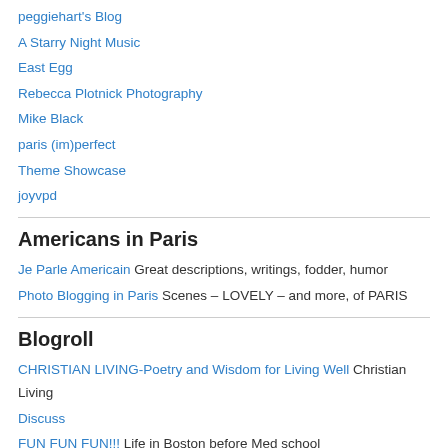peggiehart's Blog
A Starry Night Music
East Egg
Rebecca Plotnick Photography
Mike Black
paris (im)perfect
Theme Showcase
joyvpd
Americans in Paris
Je Parle Americain Great descriptions, writings, fodder, humor
Photo Blogging in Paris Scenes – LOVELY – and more, of PARIS
Blogroll
CHRISTIAN LIVING-Poetry and Wisdom for Living Well Christian Living
Discuss
FUN FUN FUN!!! Life in Boston before Med school